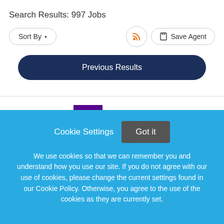Search Results: 997 Jobs
Sort By ▾
Save Agent
Previous Results
[Figure (logo): NYU logo with purple background box and white torch/flame icon, followed by NYU text in purple]
Cookie Settings   Got it
We use cookies so that we can remember you and understand how you use our site. If you do not agree with our use of cookies, please change the current settings found in our Cookie Policy. Otherwise, you agree to the use of the cookies as they are currently set.